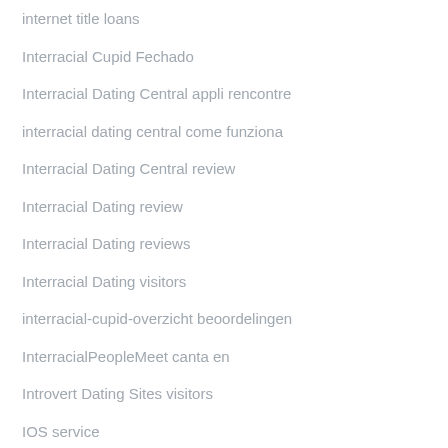internet title loans
Interracial Cupid Fechado
Interracial Dating Central appli rencontre
interracial dating central come funziona
Interracial Dating Central review
Interracial Dating review
Interracial Dating reviews
Interracial Dating visitors
interracial-cupid-overzicht beoordelingen
InterracialPeopleMeet canta en
Introvert Dating Sites visitors
IOS service
Ios sign in
ireland-dating reviews
irving reviews